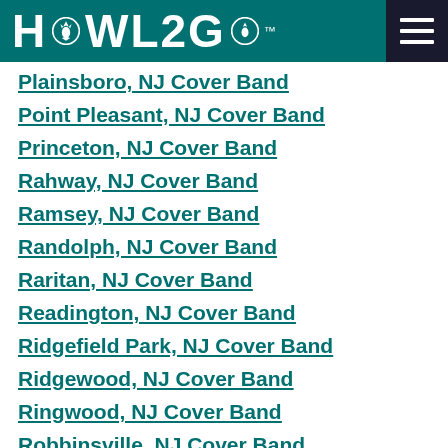HOWL2GO
Plainsboro, NJ Cover Band
Point Pleasant, NJ Cover Band
Princeton, NJ Cover Band
Rahway, NJ Cover Band
Ramsey, NJ Cover Band
Randolph, NJ Cover Band
Raritan, NJ Cover Band
Readington, NJ Cover Band
Ridgefield Park, NJ Cover Band
Ridgewood, NJ Cover Band
Ringwood, NJ Cover Band
Robbinsville, NJ Cover Band
Rockaway, NJ Cover Band
Roselle, NJ Cover Band